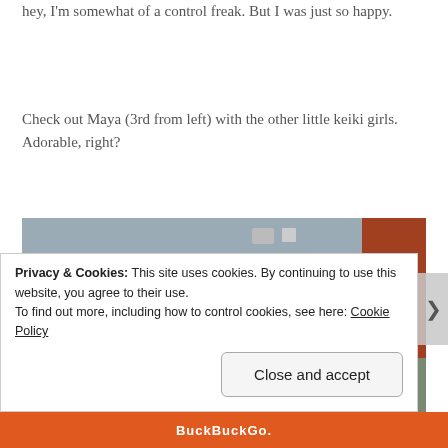hey, I'm somewhat of a control freak. But I was just so happy.
Check out Maya (3rd from left) with the other little keiki girls. Adorable, right?
[Figure (photo): Group photo of six young girls wearing red Hawaiian dresses and white leis, posing together in what appears to be a school or community center hallway.]
Privacy & Cookies: This site uses cookies. By continuing to use this website, you agree to their use.
To find out more, including how to control cookies, see here: Cookie Policy
Close and accept
BuckBuckGo.